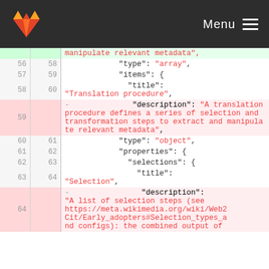Menu
| old | new | code |
| --- | --- | --- |
|  |  | manipulate relevant metadata", |
| 56 | 58 | "type": "array", |
| 57 | 59 | "items": { |
| 58 | 60 | "title": |
|  |  | "Translation procedure", |
| 59 |  | - "description": "A translation procedure defines a series of selection and transformation steps to extract and manipulate relevant metadata", |
| 60 | 61 | "type": "object", |
| 61 | 62 | "properties": { |
| 62 | 63 | "selections": { |
| 63 | 64 | "title": |
|  |  | "Selection", |
| 64 |  | - "description": |
|  |  | "A list of selection steps (see https://meta.wikimedia.org/wiki/Web2Cit/Early_adopters#Selection_types_and_configs): the combined output of |